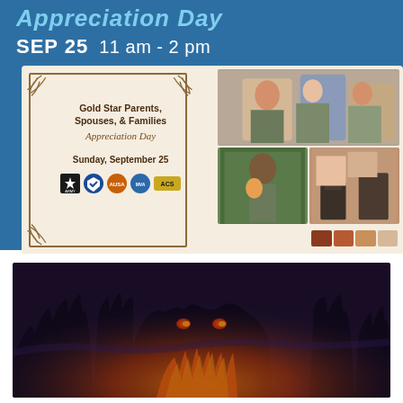Appreciation Day
SEP 25   11 am - 2 pm
[Figure (infographic): Gold Star Parents, Spouses, & Families Appreciation Day flyer with military family photos and organizational logos. Event: Sunday, September 25.]
[Figure (photo): Dark atmospheric photo with glowing eyes effect and fire/flames at bottom — appears to be a Halloween or event promotional image.]